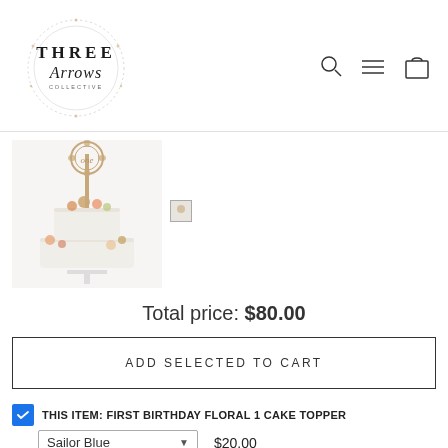[Figure (logo): Three Arrows Collective logo — circular design with dotted border, script and serif text]
[Figure (photo): First birthday floral cake topper on a two-tier white semi-naked cake with floral decorations]
[Figure (photo): Small thumbnail image of the cake]
Total price: $80.00
ADD SELECTED TO CART
THIS ITEM: FIRST BIRTHDAY FLORAL 1 CAKE TOPPER
Sailor Blue   $20.00